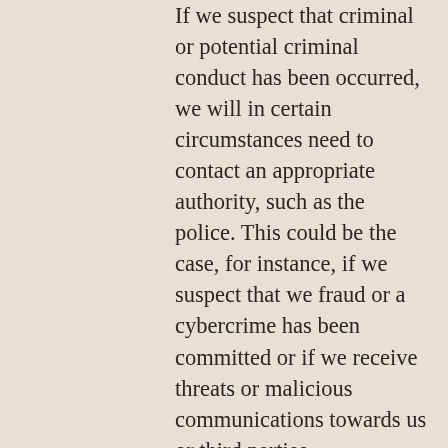If we suspect that criminal or potential criminal conduct has been occurred, we will in certain circumstances need to contact an appropriate authority, such as the police. This could be the case, for instance, if we suspect that we fraud or a cybercrime has been committed or if we receive threats or malicious communications towards us or third parties.
We may need to use your information if we are involved in a dispute with you or a third party for example, either to resolve the dispute or as part of any mediation, arbitration or court resolution or similar process.
We will use and process your information in order to comply with